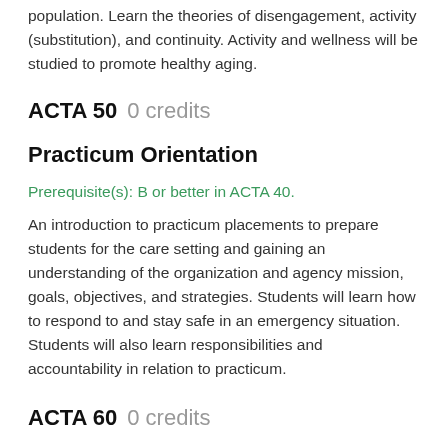population. Learn the theories of disengagement, activity (substitution), and continuity. Activity and wellness will be studied to promote healthy aging.
ACTA 50    0 credits
Practicum Orientation
Prerequisite(s): B or better in ACTA 40.
An introduction to practicum placements to prepare students for the care setting and gaining an understanding of the organization and agency mission, goals, objectives, and strategies. Students will learn how to respond to and stay safe in an emergency situation. Students will also learn responsibilities and accountability in relation to practicum.
ACTA 60    0 credits